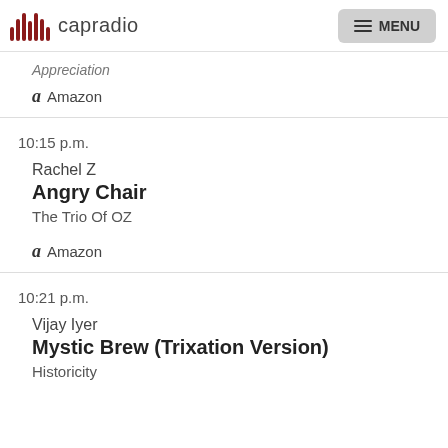capradio  MENU
Appreciation
Amazon
10:15 p.m.
Rachel Z
Angry Chair
The Trio Of OZ
Amazon
10:21 p.m.
Vijay Iyer
Mystic Brew (Trixation Version)
Historicity